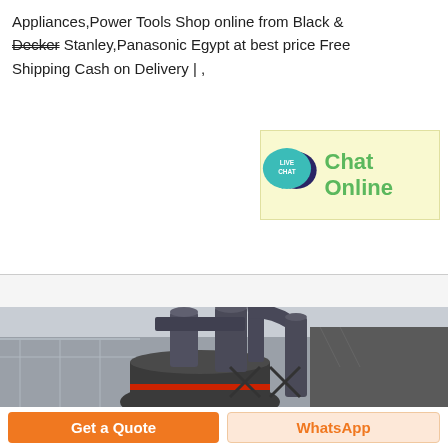Appliances,Power Tools Shop online from Black & Decker Stanley,Panasonic Egypt at best price Free Shipping Cash on Delivery | ,
[Figure (infographic): Live Chat widget with teal speech bubble icon and 'Chat Online' text in green on a yellow background]
[Figure (photo): Industrial grinding mill machines with large cylindrical cyclone dust collectors connected by pipes, inside a factory/industrial setting]
Get a Quote
WhatsApp